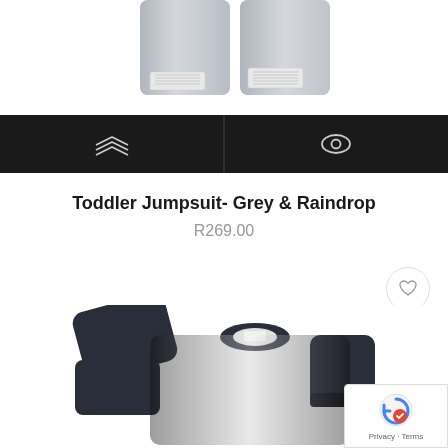[Figure (photo): Partial view of grey toddler pants/jumpsuit bottom with label tags visible at waistband, on white background]
[Figure (screenshot): Dark toolbar with two icon buttons separated by a divider: a layers/stack icon on the left and an eye/view icon on the right]
Toddler Jumpsuit- Grey & Raindrop
R269.00
[Figure (photo): Toddler two-tone jumpsuit or top with dark navy sleeves and collar/cuffs against a light grey body, displayed on white background]
[Figure (screenshot): Google reCAPTCHA badge in bottom right corner showing the reCAPTCHA logo and Privacy - Terms text]